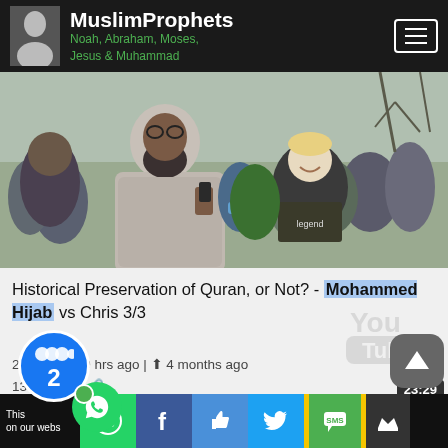MuslimProphets — Noah, Abraham, Moses, Jesus & Muhammad
[Figure (photo): Outdoor photo of a bearded man in a grey hoodie speaking to a crowd; a young blond man smiles nearby; group of people in background, bare trees visible.]
Historical Preservation of Quran, or Not? - Mohammed Hijab vs Chris 3/3
290 views · 9 hrs ago | 4 months ago
131 of 131
[Figure (logo): YouTube logo watermark (greyed out)]
23:29
This on our webs | WhatsApp | Facebook | Like | Twitter | SMS | 2